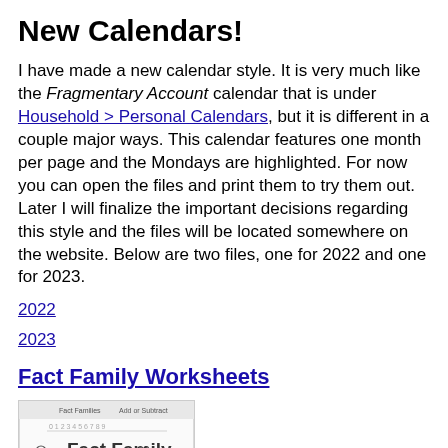New Calendars!
I have made a new calendar style. It is very much like the Fragmentary Account calendar that is under Household > Personal Calendars, but it is different in a couple major ways. This calendar features one month per page and the Mondays are highlighted. For now you can open the files and print them to try them out. Later I will finalize the important decisions regarding this style and the files will be located somewhere on the website. Below are two files, one for 2022 and one for 2023.
2022
2023
Fact Family Worksheets
[Figure (screenshot): Thumbnail image of Fact Family Worksheets showing title page with handwriting practice math problems]
Fact Family worksheets in three handwriting styles - ZB, DN, & HWT.